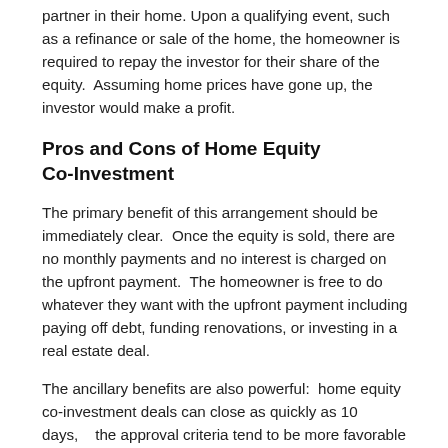partner in their home. Upon a qualifying event, such as a refinance or sale of the home, the homeowner is required to repay the investor for their share of the equity.  Assuming home prices have gone up, the investor would make a profit.
Pros and Cons of Home Equity Co-Investment
The primary benefit of this arrangement should be immediately clear.  Once the equity is sold, there are no monthly payments and no interest is charged on the upfront payment.  The homeowner is free to do whatever they want with the upfront payment including paying off debt, funding renovations, or investing in a real estate deal.
The ancillary benefits are also powerful:  home equity co-investment deals can close as quickly as 10 days,    the approval criteria tend to be more favorable than a traditional HELOC, and the home equity investor will participate in the downside of their investment – to a limit- in the event that the home's value falls.